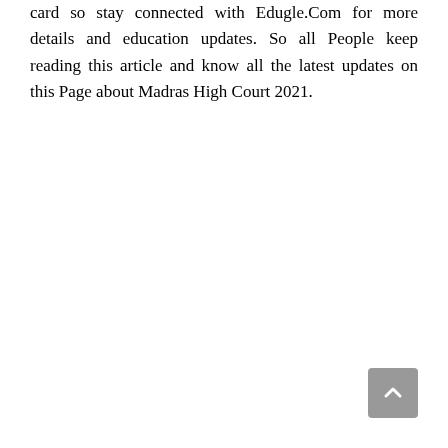card so stay connected with Edugle.Com for more details and education updates. So all People keep reading this article and know all the latest updates on this Page about Madras High Court 2021.